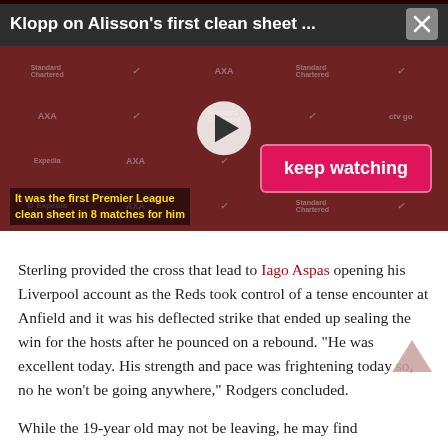[Figure (screenshot): Video player overlay showing Klopp at press conference with 'keep watching' button and subtitle 'It was the first Premier League clean sheet in 8 matches for him'. Title bar reads 'Klopp on Alisson's first clean sheet ...' with close button.]
Sterling provided the cross that lead to Iago Aspas opening his Liverpool account as the Reds took control of a tense encounter at Anfield and it was his deflected strike that ended up sealing the win for the hosts after he pounced on a rebound. “He was excellent today. His strength and pace was frightening today so, no he won’t be going anywhere,” Rodgers concluded.
While the 19-year old may not be leaving, he may find